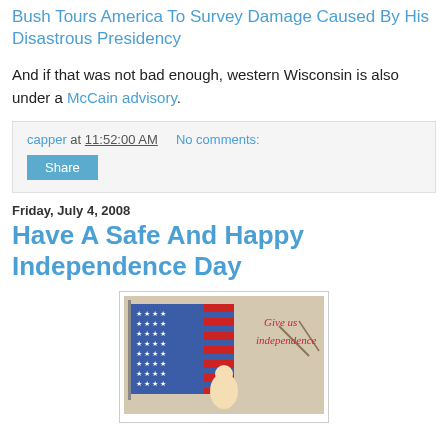Bush Tours America To Survey Damage Caused By His Disastrous Presidency
And if that was not bad enough, western Wisconsin is also under a McCain advisory.
capper at 11:52:00 AM   No comments:
Share
Friday, July 4, 2008
Have A Safe And Happy Independence Day
[Figure (photo): Vintage American independence postcard showing a child holding a US flag with the text 'Give us independence']